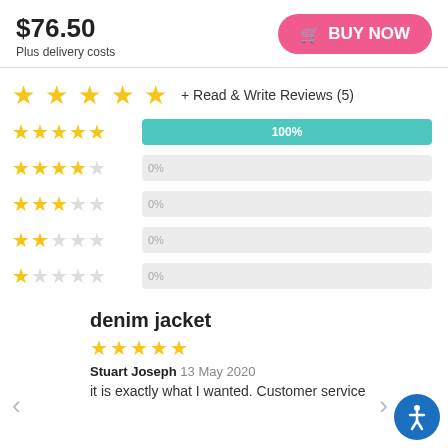$76.50
Plus delivery costs
BUY NOW
[Figure (other): 5 gold stars rating with '+ Read & Write Reviews (5)' link]
[Figure (bar-chart): Rating distribution]
denim jacket
[Figure (other): 5 gold stars review rating]
Stuart Joseph 13 May 2020
it is exactly what I wanted. Customer service